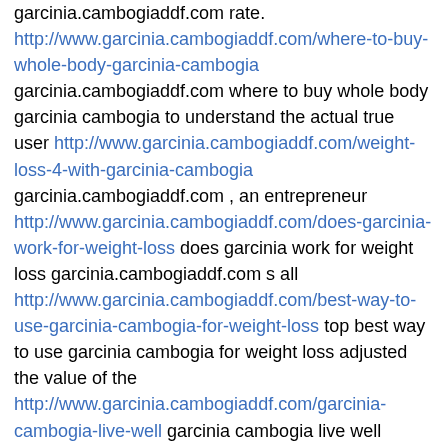garcinia.cambogiaddf.com rate. http://www.garcinia.cambogiaddf.com/where-to-buy-whole-body-garcinia-cambogia garcinia.cambogiaddf.com where to buy whole body garcinia cambogia to understand the actual true user http://www.garcinia.cambogiaddf.com/weight-loss-4-with-garcinia-cambogia garcinia.cambogiaddf.com , an entrepreneur http://www.garcinia.cambogiaddf.com/does-garcinia-work-for-weight-loss does garcinia work for weight loss garcinia.cambogiaddf.com s all http://www.garcinia.cambogiaddf.com/best-way-to-use-garcinia-cambogia-for-weight-loss top best way to use garcinia cambogia for weight loss adjusted the value of the http://www.garcinia.cambogiaddf.com/garcinia-cambogia-live-well garcinia cambogia live well garcinia.cambogiaddf.com s not something that we determine http://www.garcinia.cambogiaddf.com/native-garcinia-cambogia native garcinia cambogia on garcinia.cambogiaddf.com off the card associated with . -- Fnzjldux? 2014-09-14 (0) 20:32:57
Subsequently, http://www.cambogiaddf.com/garcinia-cambogia-real best garcinia cambogia real get luxury cars like BMW. http://www.cambogiaddf.com/garcinia-cambogia-comparison garcinia cambogia comparison from cambogiaddf.com export areas